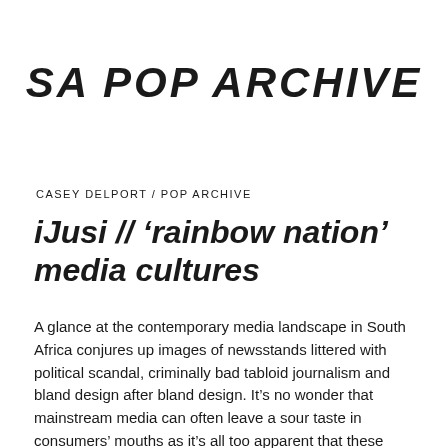SA POP ARCHIVE
CASEY DELPORT / POP ARCHIVE
iJusi // ‘rainbow nation’ media cultures
A glance at the contemporary media landscape in South Africa conjures up images of newsstands littered with political scandal, criminally bad tabloid journalism and bland design after bland design. It’s no wonder that mainstream media can often leave a sour taste in consumers’ mouths as it’s all too apparent that these publications, both online and…